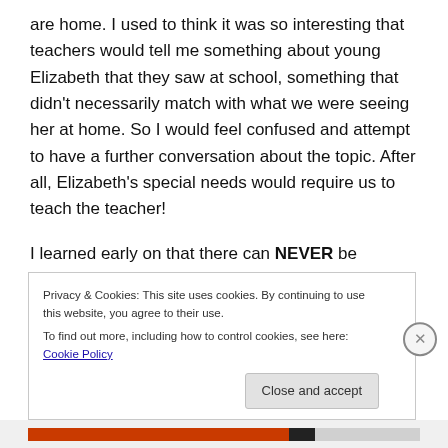are home. I used to think it was so interesting that teachers would tell me something about young Elizabeth that they saw at school, something that didn't necessarily match with what we were seeing her at home. So I would feel confused and attempt to have a further conversation about the topic. After all, Elizabeth's special needs would require us to teach the teacher!
I learned early on that there can NEVER be enough communication!
(partially obscured text)
Privacy & Cookies: This site uses cookies. By continuing to use this website, you agree to their use. To find out more, including how to control cookies, see here: Cookie Policy
Close and accept